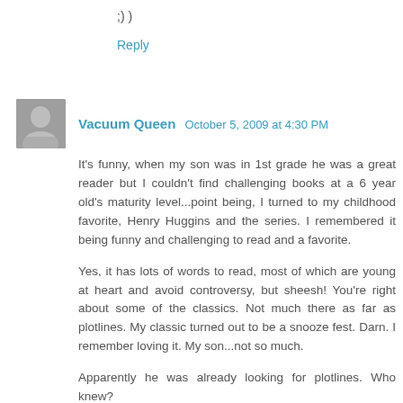;) )
Reply
Vacuum Queen  October 5, 2009 at 4:30 PM
It's funny, when my son was in 1st grade he was a great reader but I couldn't find challenging books at a 6 year old's maturity level...point being, I turned to my childhood favorite, Henry Huggins and the series. I remembered it being funny and challenging to read and a favorite.
Yes, it has lots of words to read, most of which are young at heart and avoid controversy, but sheesh! You're right about some of the classics. Not much there as far as plotlines. My classic turned out to be a snooze fest. Darn. I remember loving it. My son...not so much.
Apparently he was already looking for plotlines. Who knew?
Reply